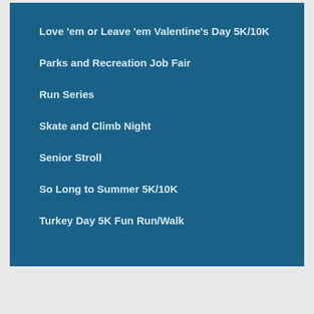Love 'em or Leave 'em Valentine's Day 5K/10K
Parks and Recreation Job Fair
Run Series
Skate and Climb Night
Senior Stroll
So Long to Summer 5K/10K
Turkey Day 5K Fun Run/Walk